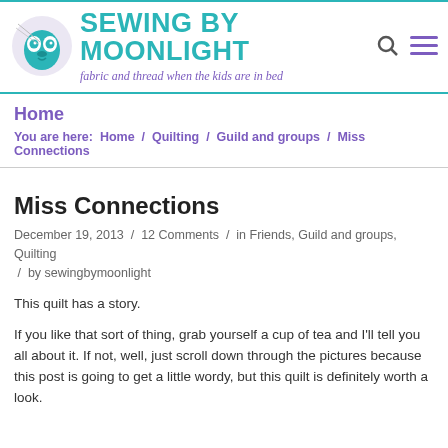SEWING BY MOONLIGHT — fabric and thread when the kids are in bed
Home
You are here: Home / Quilting / Guild and groups / Miss Connections
Miss Connections
December 19, 2013 / 12 Comments / in Friends, Guild and groups, Quilting / by sewingbymoonlight
This quilt has a story.
If you like that sort of thing, grab yourself a cup of tea and I'll tell you all about it. If not, well, just scroll down through the pictures because this post is going to get a little wordy, but this quilt is definitely worth a look.